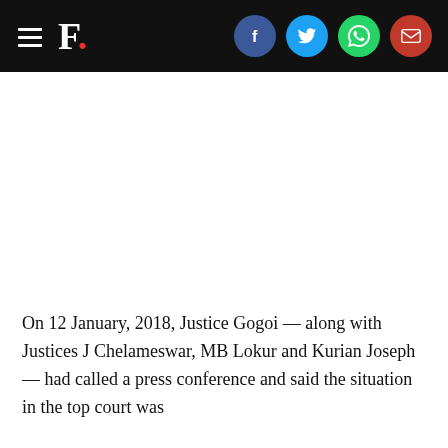F. [social icons: Facebook, Twitter, WhatsApp, Email]
[Figure (other): Blank white space / image placeholder area]
On 12 January, 2018, Justice Gogoi — along with Justices J Chelameswar, MB Lokur and Kurian Joseph — had called a press conference and said the situation in the top court was